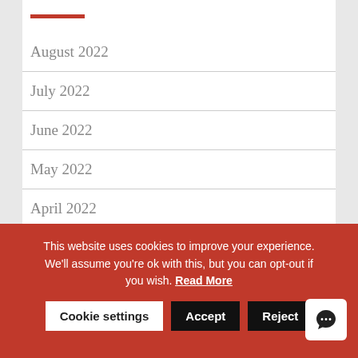August 2022
July 2022
June 2022
May 2022
April 2022
March 2022
This website uses cookies to improve your experience. We'll assume you're ok with this, but you can opt-out if you wish. Read More
Cookie settings  Accept  Reject